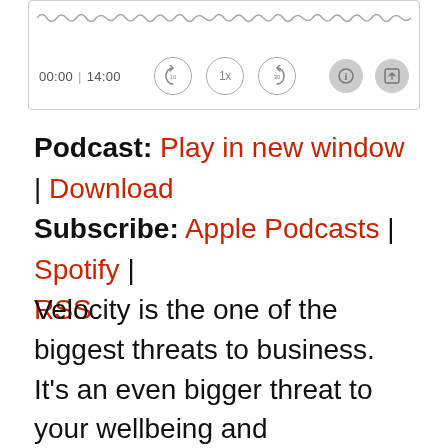[Figure (screenshot): Audio player widget showing waveform, timestamp 00:00 | 14:00, playback controls (rewind 10, 1x speed, forward 30), info and share icons]
Podcast: Play in new window | Download Subscribe: Apple Podcasts | Spotify | RSS
Velocity is the one of the biggest threats to business. It's an even bigger threat to your wellbeing and professional performance if you don't get a handle on how to manage your boundaries and your brain through constant change.